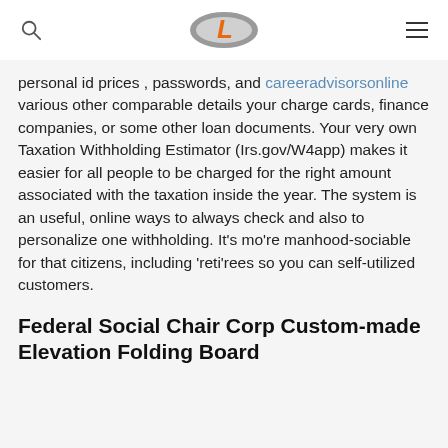[Logo: stylized L badge] [Search icon] [Hamburger menu icon]
personal id prices , passwords, and careeradvisorsonline various other comparable details your charge cards, finance companies, or some other loan documents. Your very own Taxation Withholding Estimator (Irs.gov/W4app) makes it easier for all people to be charged for the right amount associated with the taxation inside the year. The system is an useful, online ways to always check and also to personalize one withholding. It’s mo’re manhood-sociable for that citizens, including ‘reti’rees so you can self-utilized customers.
Federal Social Chair Corp Custom-made Elevation Folding Board